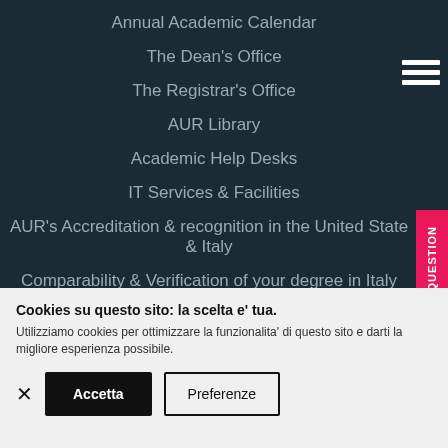Annual Academic Calendar
The Dean's Office
The Registrar's Office
AUR Library
Academic Help Desks
IT Services & Facilities
AUR's Accreditation & recognition in the United States & Italy
Comparability & Verification of your degree in Italy
ADMISSIONS
ASK A QUESTION
Cookies su questo sito: la scelta e' tua.
Utilizziamo cookies per ottimizzare la funzionalita' di questo sito e darti la migliore esperienza possibile.
Accetta
Preferenze